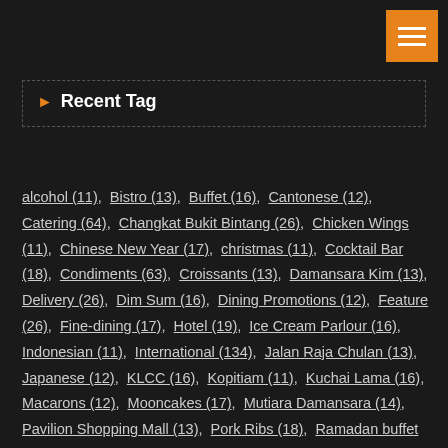Recent Tag
alcohol (11), Bistro (13), Buffet (16), Cantonese (12), Catering (64), Changkat Bukit Bintang (26), Chicken Wings (11), Chinese New Year (17), christmas (11), Cocktail Bar (18), Condiments (63), Croissants (13), Damansara Kim (13), Delivery (26), Dim Sum (16), Dining Promotions (12), Feature (26), Fine-dining (17), Hotel (19), Ice Cream Parlour (16), Indonesian (11), International (134), Jalan Raja Chulan (13), Japanese (12), KLCC (16), Kopitiam (11), Kuchai Lama (16), Macarons (12), Mooncakes (17), Mutiara Damansara (14), Pavilion Shopping Mall (13), Pork Ribs (18), Ramadan buffet promotion (15), Recipes (10), Restaurant Bar (22), Rice (25), Shopping Mall (22),